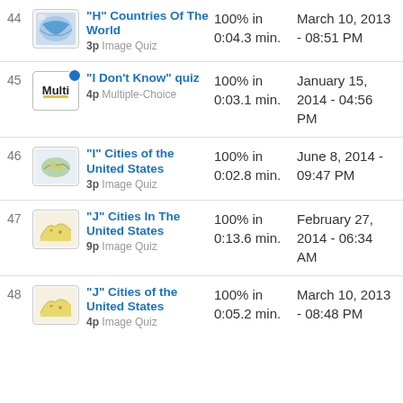| # | Quiz | Score | Date |
| --- | --- | --- | --- |
| 44 | "H" Countries Of The World
3p Image Quiz | 100% in 0:04.3 min. | March 10, 2013 - 08:51 PM |
| 45 | "I Don't Know" quiz
4p Multiple-Choice | 100% in 0:03.1 min. | January 15, 2014 - 04:56 PM |
| 46 | "I" Cities of the United States
3p Image Quiz | 100% in 0:02.8 min. | June 8, 2014 - 09:47 PM |
| 47 | "J" Cities In The United States
9p Image Quiz | 100% in 0:13.6 min. | February 27, 2014 - 06:34 AM |
| 48 | "J" Cities of the United States
4p Image Quiz | 100% in 0:05.2 min. | March 10, 2013 - 08:48 PM |